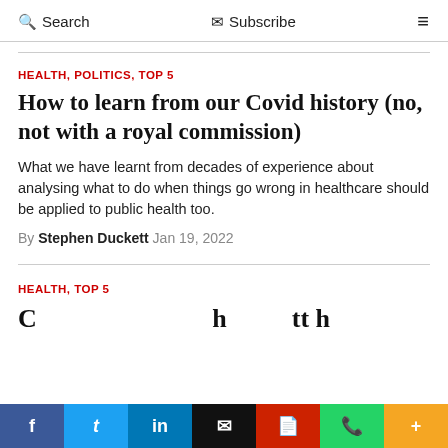Search  Subscribe  ≡
HEALTH, POLITICS, TOP 5
How to learn from our Covid history (no, not with a royal commission)
What we have learnt from decades of experience about analysing what to do when things go wrong in healthcare should be applied to public health too.
By Stephen Duckett Jan 19, 2022
HEALTH, TOP 5